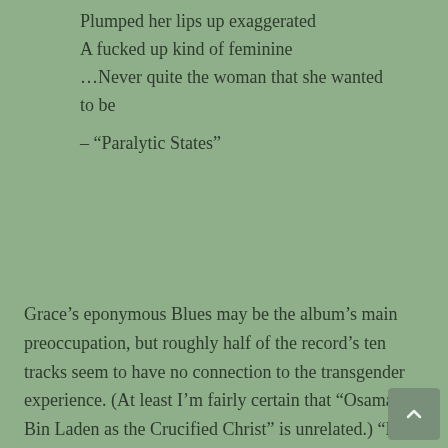Plumped her lips up exaggerated
A fucked up kind of feminine
…Never quite the woman that she wanted to be

– “Paralytic States”
Grace’s eponymous Blues may be the album’s main preoccupation, but roughly half of the record’s ten tracks seem to have no connection to the transgender experience. (At least I’m fairly certain that “Osama Bin Laden as the Crucified Christ” is unrelated.) “Dead Friend” eulogizes Against Me!’s late lighting designer